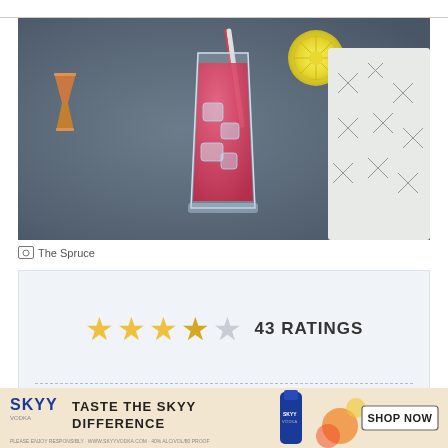[Figure (photo): Top-down photo of a pink cocktail drink in a glass with ice, a lemon slice garnish, a striped straw, a copper jigger bar tool on a dark slate surface, and a patterned cloth napkin to the right]
The Spruce
43 RATINGS
Prep: 3 mins
Cook: 0 mins
[Figure (infographic): SKYY Vodka advertisement banner: 'TASTE THE SKYY DIFFERENCE' with SHOP NOW button and SKYY vodka bottle image]